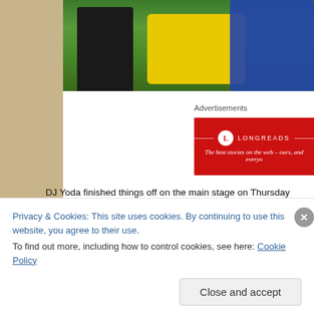[Figure (photo): Partial photo of people at an outdoor event, showing yellow and blue shirts against green grass background]
Advertisements
[Figure (logo): Longreads advertisement banner - red background with Longreads logo and tagline: The best stories on the web – ours, and every...]
DJ Yoda finished things off on the main stage on Thursday night, a true show masterclass with panache and style. As with many of these turntablists I some run a little but his skills are undeniable and he was a pleasure to watch. Dutty down wall of sound (sound was good all weekend except perhaps on Thursda everything seemed a bit quiet). I love this band and seeing them in more intin with them even more. They are one of the (if not THE) best live bands aroun Absolute belter.
Privacy & Cookies: This site uses cookies. By continuing to use this website, you agree to their use.
To find out more, including how to control cookies, see here: Cookie Policy
Close and accept